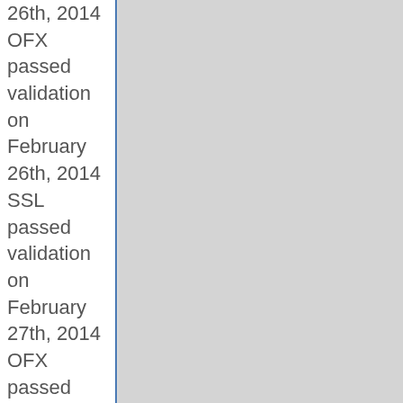26th, 2014 OFX passed validation on February 26th, 2014 SSL passed validation on February 27th, 2014 OFX passed validation on February 27th, 2014 SSL passed validation on February 28th, 2014 OFX passed validation on